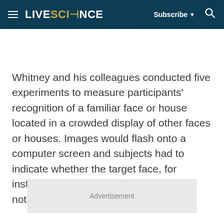LIVESCIENCE  Subscribe  🔍
Whitney and his colleagues conducted five experiments to measure participants' recognition of a familiar face or house located in a crowded display of other faces or houses. Images would flash onto a computer screen and subjects had to indicate whether the target face, for instance, was on the right, on the left or not present at all.
Advertisement